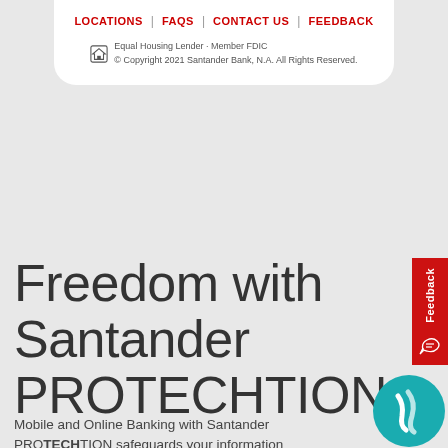LOCATIONS | FAQs | CONTACT US | FEEDBACK
Equal Housing Lender · Member FDIC
© Copyright 2021 Santander Bank, N.A. All Rights Reserved.
Freedom with Santander PROTECHTION
Mobile and Online Banking with Santander PROTECHTION safeguards your information